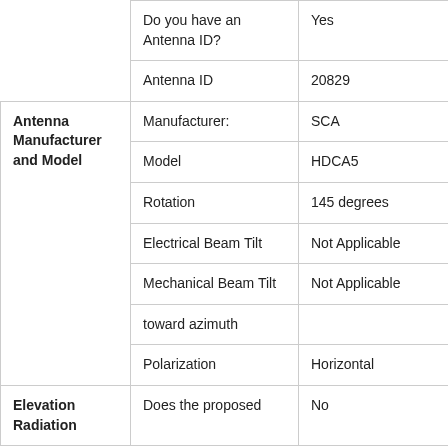|  |  |  |
| --- | --- | --- |
|  | Do you have an Antenna ID? | Yes |
|  | Antenna ID | 20829 |
| Antenna Manufacturer and Model | Manufacturer: | SCA |
|  | Model | HDCA5 |
|  | Rotation | 145 degrees |
|  | Electrical Beam Tilt | Not Applicable |
|  | Mechanical Beam Tilt | Not Applicable |
|  | toward azimuth |  |
|  | Polarization | Horizontal |
| Elevation Radiation | Does the proposed | No |